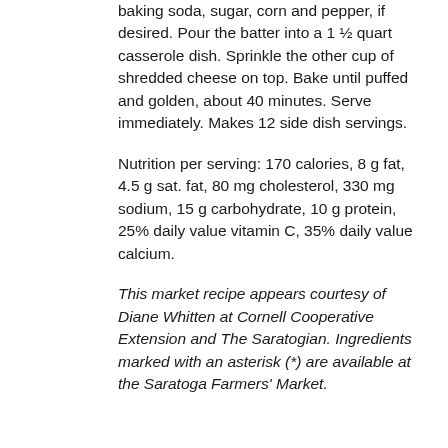baking soda, sugar, corn and pepper, if desired. Pour the batter into a 1 ½ quart casserole dish. Sprinkle the other cup of shredded cheese on top. Bake until puffed and golden, about 40 minutes. Serve immediately. Makes 12 side dish servings.
Nutrition per serving: 170 calories, 8 g fat, 4.5 g sat. fat, 80 mg cholesterol, 330 mg sodium, 15 g carbohydrate, 10 g protein, 25% daily value vitamin C, 35% daily value calcium.
This market recipe appears courtesy of Diane Whitten at Cornell Cooperative Extension and The Saratogian. Ingredients marked with an asterisk (*) are available at the Saratoga Farmers' Market.